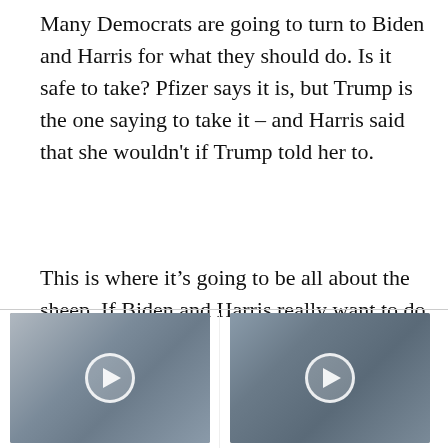Many Democrats are going to turn to Biden and Harris for what they should do. Is it safe to take? Pfizer says it is, but Trump is the one saying to take it – and Harris said that she wouldn't if Trump told her to.
This is where it's going to be all about the sheep. If Biden and Harris really want to do wh[Promoted x]r
[Figure (screenshot): Promoted ad thumbnail showing a woman (resembling Kamala Harris) in front of industrial background with play button overlay]
Nancy Pelosi Wants This Video Destroyed — Watch Now Before It's Banned
🔥 599,791
[Figure (screenshot): Promoted ad thumbnail showing two people (resembling Melania and Donald Trump) with play button overlay]
Top Democrats Fear This Video Getting Out — Watch Now Before It's Banned
🔥 279,809